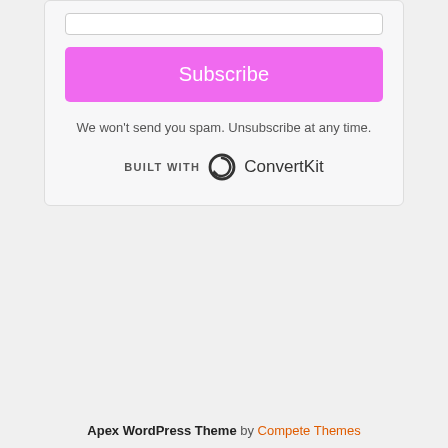[Figure (screenshot): Subscribe button — pink/magenta rounded rectangle with white text 'Subscribe']
We won't send you spam. Unsubscribe at any time.
[Figure (logo): BUILT WITH ConvertKit logo — circular arrow icon followed by 'ConvertKit' text]
Apex WordPress Theme by Compete Themes